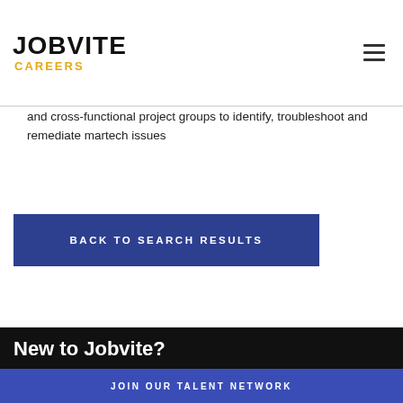JOBVITE CAREERS
and cross-functional project groups to identify, troubleshoot and remediate martech issues
BACK TO SEARCH RESULTS
New to Jobvite?
JOIN OUR TALENT NETWORK